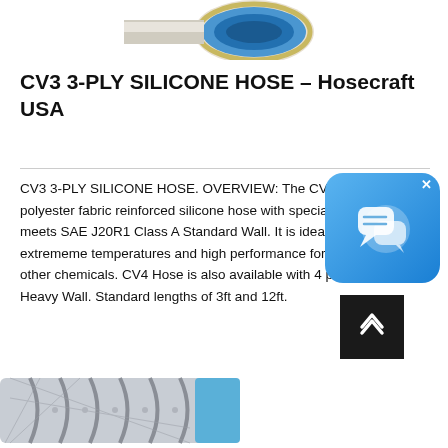[Figure (photo): Partial view of a blue and white silicone hose end/fitting at the top of the page]
CV3 3-PLY SILICONE HOSE – Hosecraft USA
CV3 3-PLY SILICONE HOSE. OVERVIEW: The CV3 is a polyester fabric reinforced silicone hose with special coating. It meets SAE J20R1 Class A Standard Wall. It is ideal for extrememe temperatures and high performance for coolant and other chemicals. CV4 Hose is also available with 4 piles for a Heavy Wall. Standard lengths of 3ft and 12ft.
[Figure (photo): Partial view of a silicone hose section showing corrugated/reinforced construction at the bottom of the page]